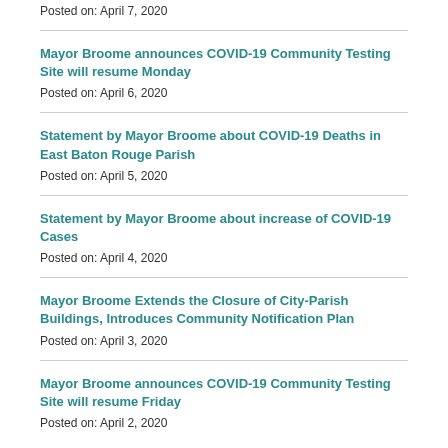Posted on: April 7, 2020
Mayor Broome announces COVID-19 Community Testing Site will resume Monday
Posted on: April 6, 2020
Statement by Mayor Broome about COVID-19 Deaths in East Baton Rouge Parish
Posted on: April 5, 2020
Statement by Mayor Broome about increase of COVID-19 Cases
Posted on: April 4, 2020
Mayor Broome Extends the Closure of City-Parish Buildings, Introduces Community Notification Plan
Posted on: April 3, 2020
Mayor Broome announces COVID-19 Community Testing Site will resume Friday
Posted on: April 2, 2020